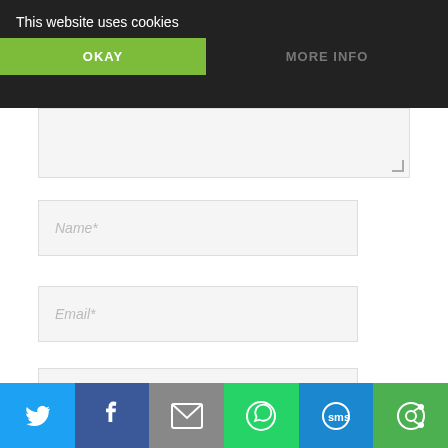This website uses cookies
OKAY
MORE INFO
Name*
Email*
Website
Post Comment »